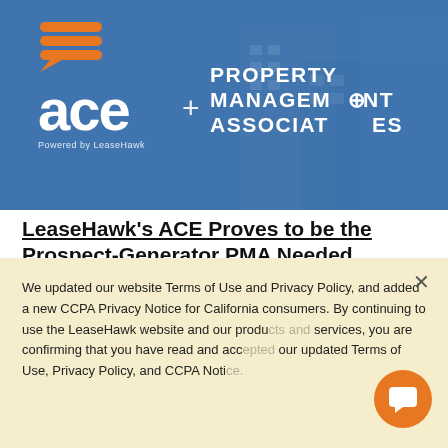[Figure (logo): Hero banner with blue overlay showing ACE logo (powered by LeaseHawk) plus Property Management Associates logo on a blue building background]
LeaseHawk's ACE Proves to be the Prospect-Generator PMA Needed
Internet Listing Services drive hundreds of leads to community websites. But, once prospects are there, it can be difficult to find the information they need. Discover how Property Management Associates (PMA)
We updated our website Terms of Use and Privacy Policy, and added a new CCPA Privacy Notice for California consumers. By continuing to use the LeaseHawk website and our products and services, you are confirming that you have read and accepted our updated Terms of Use, Privacy Policy, and CCPA Notice.